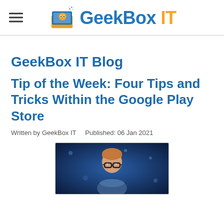GeekBox IT
GeekBox IT Blog
Tip of the Week: Four Tips and Tricks Within the Google Play Store
Written by GeekBox IT    Published: 06 Jan 2021
[Figure (photo): Person with glasses looking at glowing device against blue background]